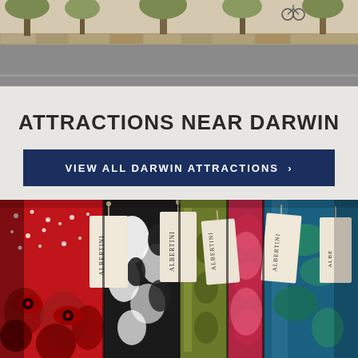[Figure (photo): Outdoor street/park scene with road, stone curb, trees in background, and a bicycle visible]
ATTRACTIONS NEAR DARWIN
VIEW ALL DARWIN ATTRACTIONS >
[Figure (photo): Colorful fabrics and clothing items hanging on a rack with Albertini brand tags attached, showing red, black, white, green, blue and multicolored textile patterns]